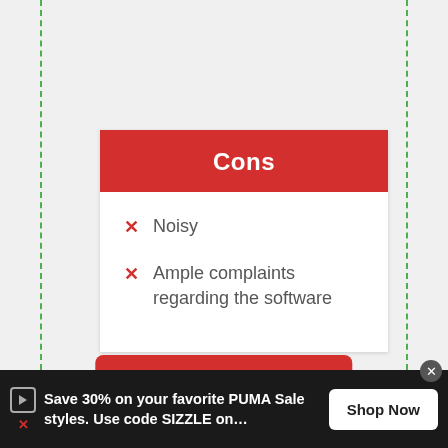Cons
Noisy
Ample complaints regarding the software
[Figure (other): Red button labeled 'View on Amazon']
[Figure (other): Ad banner: Save 30% on your favorite PUMA Sale styles. Use code SIZZLE on... Shop Now]